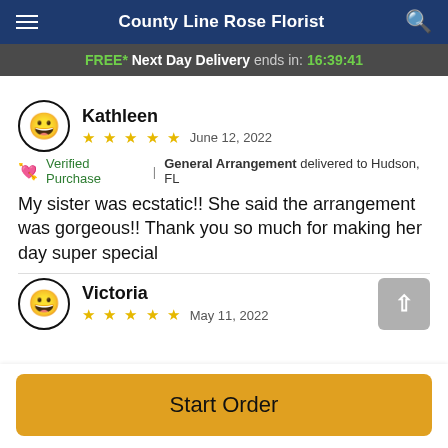County Line Rose Florist
FREE* Next Day Delivery ends in: 16:39:41
Kathleen
★★★★★  June 12, 2022
🌷 Verified Purchase | General Arrangement delivered to Hudson, FL
My sister was ecstatic!! She said the arrangement was gorgeous!! Thank you so much for making her day super special
Victoria
★★★★★  May 11, 2022
Start Order